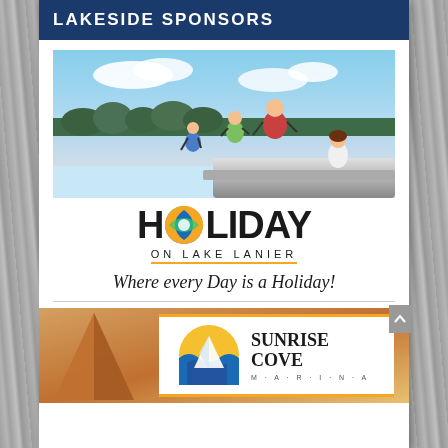LAKESIDE SPONSORS
[Figure (photo): Children and adults jumping off a boat into a lake, wearing life jackets, with trees and sky in background]
[Figure (logo): HOLIDAY ON LAKE LANIER logo with colorful circular O and gold underline]
Where every Day is a Holiday!
[Figure (logo): Sunrise Cove Marina logo with circular sun/water emblem and text on white background, over sailboat image on lake]